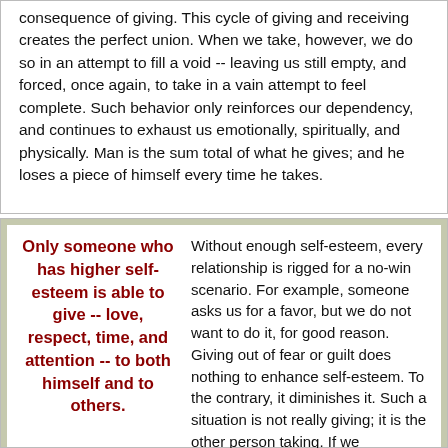consequence of giving. This cycle of giving and receiving creates the perfect union. When we take, however, we do so in an attempt to fill a void -- leaving us still empty, and forced, once again, to take in a vain attempt to feel complete. Such behavior only reinforces our dependency, and continues to exhaust us emotionally, spiritually, and physically. Man is the sum total of what he gives; and he loses a piece of himself every time he takes.
Only someone who has higher self-esteem is able to give -- love, respect, time, and attention -- to both himself and to others.
Without enough self-esteem, every relationship is rigged for a no-win scenario. For example, someone asks us for a favor, but we do not want to do it, for good reason. Giving out of fear or guilt does nothing to enhance self-esteem. To the contrary, it diminishes it. Such a situation is not really giving; it is the other person taking. If we acquiesce, then we are angry at ourselves or the other person, and if we do not do it, we feel guilty. Whatever we